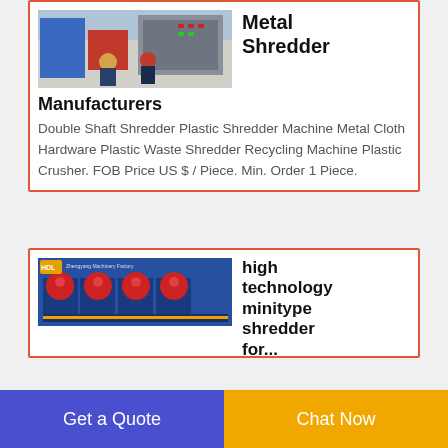[Figure (photo): Industrial metal shredder machine with control panel, workers in hard hats]
Metal Shredder
Manufacturers
Double Shaft Shredder Plastic Shredder Machine Metal Cloth Hardware Plastic Waste Shredder Recycling Machine Plastic Crusher. FOB Price US $ / Piece. Min. Order 1 Piece.
[Figure (photo): Blue industrial mini-type shredder machines with red components, factory setting]
high technology minitype shredder for...
Get a Quote
Chat Now